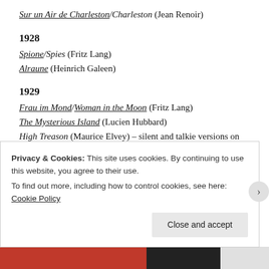Sur un Air de Charleston/Charleston (Jean Renoir)
1928
Spione/Spies (Fritz Lang)
Alraune (Heinrich Galeen)
1929
Frau im Mond/Woman in the Moon (Fritz Lang)
The Mysterious Island (Lucien Hubbard)
High Treason (Maurice Elvey) – silent and talkie versions on pay per view at BFI player
1930
Privacy & Cookies: This site uses cookies. By continuing to use this website, you agree to their use. To find out more, including how to control cookies, see here: Cookie Policy
Close and accept